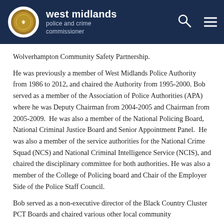west midlands police and crime commissioner
Wolverhampton Community Safety Partnership.
He was previously a member of West Midlands Police Authority from 1986 to 2012, and chaired the Authority from 1995-2000. Bob served as a member of the Association of Police Authorities (APA) where he was Deputy Chairman from 2004-2005 and Chairman from 2005-2009.  He was also a member of the National Policing Board, National Criminal Justice Board and Senior Appointment Panel.  He was also a member of the service authorities for the National Crime Squad (NCS) and National Criminal Intelligence Service (NCIS), and chaired the disciplinary committee for both authorities. He was also a member of the College of Policing board and Chair of the Employer Side of the Police Staff Council.
Bob served as a non-executive director of the Black Country Cluster PCT Boards and chaired various other local community